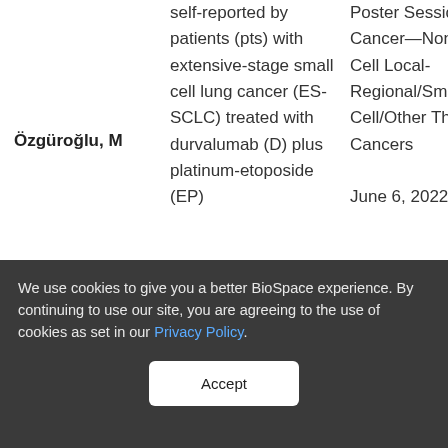self-reported by patients (pts) with extensive-stage small cell lung cancer (ES-SCLC) treated with durvalumab (D) plus platinum-etoposide (EP)
Poster Session Lung Cancer—Non-Small Cell Local-Regional/Small Cell/Other Thoracic Cancers
Özgüroğlu, M
June 6, 2022
We use cookies to give you a better BioSpace experience. By continuing to use our site, you are agreeing to the use of cookies as set in our Privacy Policy.
Accept